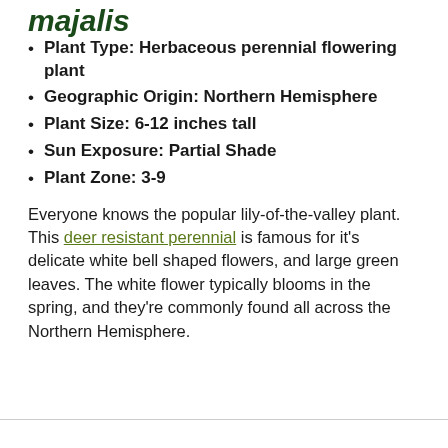majalis
Plant Type: Herbaceous perennial flowering plant
Geographic Origin: Northern Hemisphere
Plant Size: 6-12 inches tall
Sun Exposure: Partial Shade
Plant Zone: 3-9
Everyone knows the popular lily-of-the-valley plant. This deer resistant perennial is famous for it’s delicate white bell shaped flowers, and large green leaves. The white flower typically blooms in the spring, and they’re commonly found all across the Northern Hemisphere.